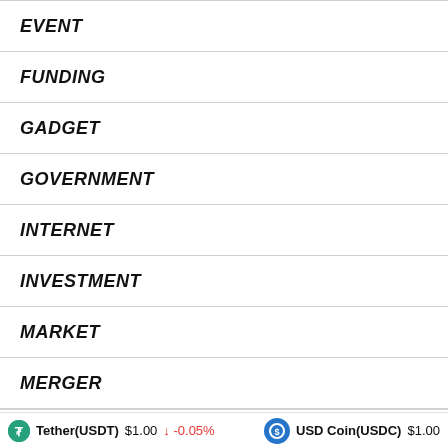EVENT
FUNDING
GADGET
GOVERNMENT
INTERNET
INVESTMENT
MARKET
MERGER
MONEY
Tether(USDT) $1.00 ↓ -0.05%   USD Coin(USDC) $1.00